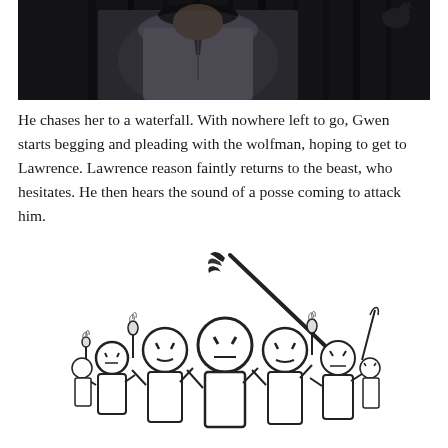[Figure (photo): A person in a grey linen shirt with dark hair, standing in a dark forested background with tree trunks visible and a wolf silhouette in the upper right. Appears to be a movie still.]
He chases her to a waterfall. With nowhere left to go, Gwen starts begging and pleading with the wolfman, hoping to get to Lawrence. Lawrence reason faintly returns to the beast, who hesitates. He then hears the sound of a posse coming to attack him.
[Figure (illustration): A cartoon illustration of an angry mob of stick-figure-like characters with round heads holding torches and pitchforks, rendered in a simple black and white comic style.]